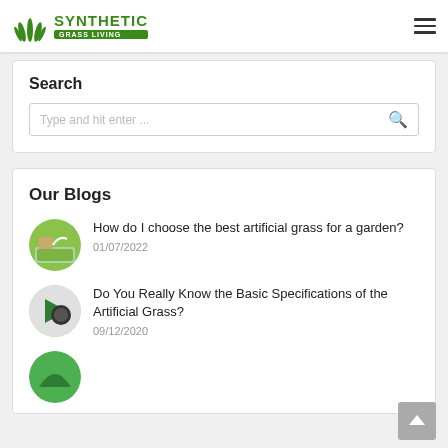SYNTHETIC GRASS LIVING
Search
Type and hit enter ...
Our Blogs
How do I choose the best artificial grass for a garden? 01/07/2022
Do You Really Know the Basic Specifications of the Artificial Grass? 09/12/2020